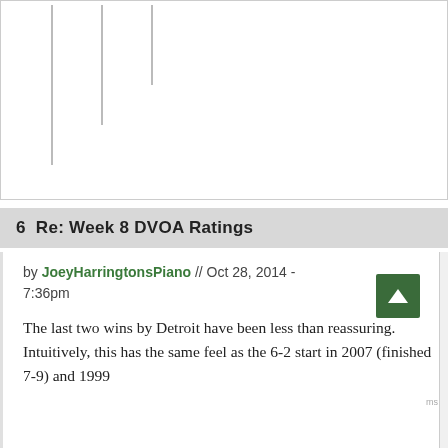[Figure (other): Partial chart or graph with vertical lines visible at the top of the page, clipped]
6  Re: Week 8 DVOA Ratings
by JoeyHarringtonsPiano // Oct 28, 2014 - 7:36pm
The last two wins by Detroit have been less than reassuring. Intuitively, this has the same feel as the 6-2 start in 2007 (finished 7-9) and 1999